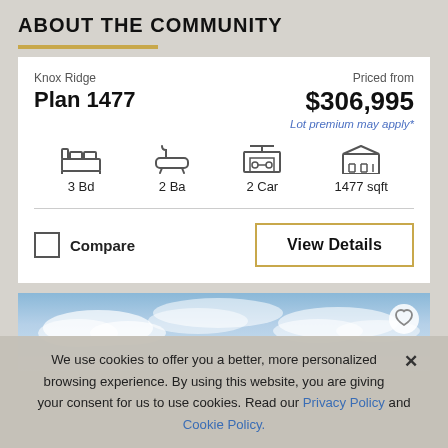ABOUT THE COMMUNITY
Knox Ridge
Plan 1477 | Priced from $306,995
Lot premium may apply*
3 Bd | 2 Ba | 2 Car | 1477 sqft
Compare | View Details
[Figure (photo): Blue sky with clouds background photo]
We use cookies to offer you a better, more personalized browsing experience. By using this website, you are giving your consent for us to use cookies. Read our Privacy Policy and Cookie Policy.